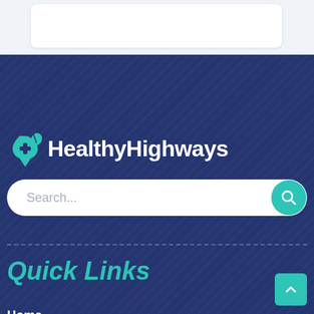[Figure (screenshot): Top portion of a white card element on a light blue-gray background, partially visible at the top of the page.]
[Figure (logo): HealthyHighways logo with teal map pin and leaf icon on dark navy background, followed by white bold text 'HealthyHighways'.]
[Figure (screenshot): White rounded search bar with placeholder text 'Search...' and a teal circular search button with magnifying glass icon.]
Quick Links
Home
Medicine